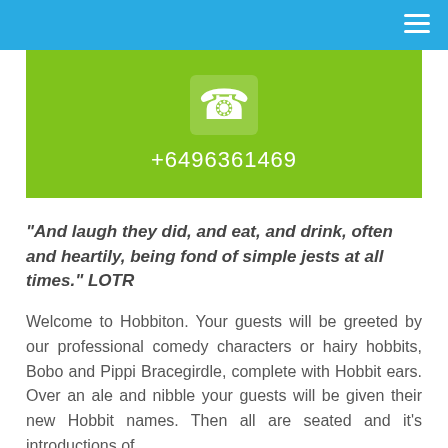[Figure (infographic): Green box with a white phone/handset icon and phone number +6496361469 in white text]
“And laugh they did, and eat, and drink, often and heartily, being fond of simple jests at all times.” LOTR
Welcome to Hobbiton. Your guests will be greeted by our professional comedy characters or hairy hobbits, Bobo and Pippi Bracegirdle, complete with Hobbit ears. Over an ale and nibble your guests will be given their new Hobbit names. Then all are seated and it’s introductions of